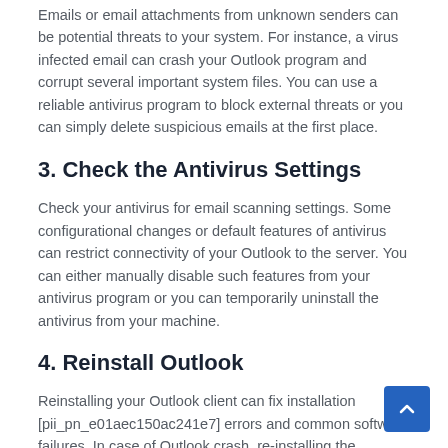Emails or email attachments from unknown senders can be potential threats to your system. For instance, a virus infected email can crash your Outlook program and corrupt several important system files. You can use a reliable antivirus program to block external threats or you can simply delete suspicious emails at the first place.
3. Check the Antivirus Settings
Check your antivirus for email scanning settings. Some configurational changes or default features of antivirus can restrict connectivity of your Outlook to the server. You can either manually disable such features from your antivirus program or you can temporarily uninstall the antivirus from your machine.
4. Reinstall Outlook
Reinstalling your Outlook client can fix installation [pii_pn_e01aec150ac241e7] errors and common software failures. In case of Outlook crash, re-installing the